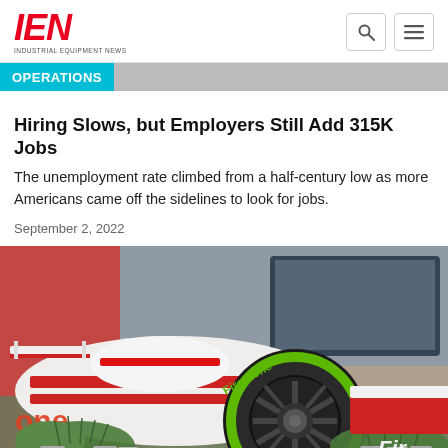IEN - Industrial Equipment News
OPERATIONS
Hiring Slows, but Employers Still Add 315K Jobs
The unemployment rate climbed from a half-century low as more Americans came off the sidelines to look for jobs.
September 2, 2022
[Figure (photo): A race car with white and red livery featuring a large black wheel with green Firestone lettering in the foreground, with plants in the background.]